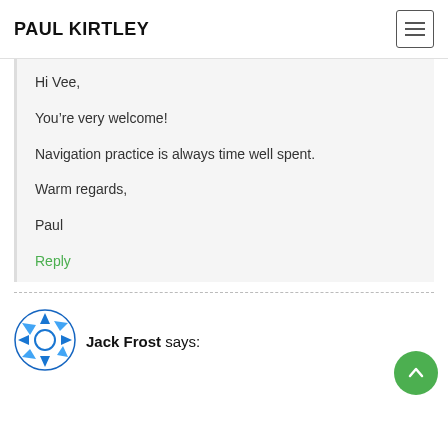PAUL KIRTLEY
Hi Vee,

You’re very welcome!

Navigation practice is always time well spent.

Warm regards,

Paul
Reply
Jack Frost says: